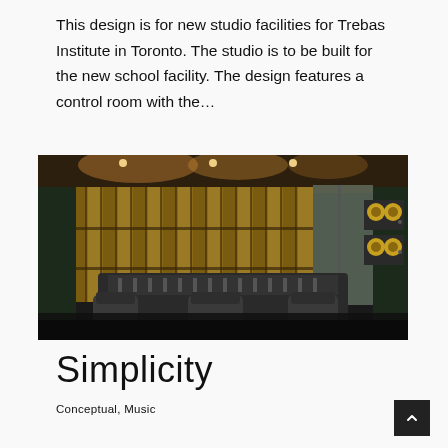This design is for new studio facilities for Trebas Institute in Toronto. The studio is to be built for the new school facility. The design features a control room with the...
[Figure (photo): Interior render of a professional recording studio control room showing a mixing console in the foreground, wooden acoustic diffuser panels on the rear wall arranged in a grid pattern, dark green walls, recessed ceiling lights with warm amber glow, and studio monitor speakers on the right side wall.]
Simplicity
Conceptual, Music